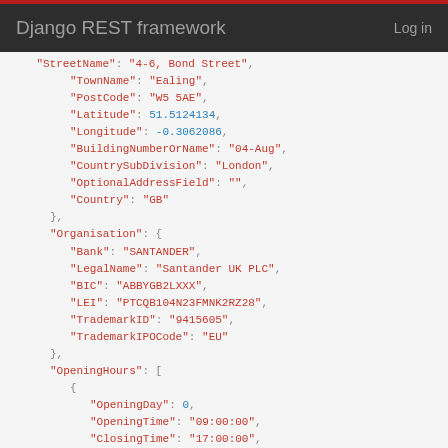Django REST framework   Log in
JSON code block showing address and organisation data including StreetName, TownName, PostCode, Latitude, Longitude, BuildingNumberOrName, CountrySubDivision, OptionalAddressField, Country, Organisation (Bank, LegalName, BIC, LEI, TrademarkID, TrademarkIPOCode), OpeningHours (OpeningDay, OpeningTime, ClosingTime)